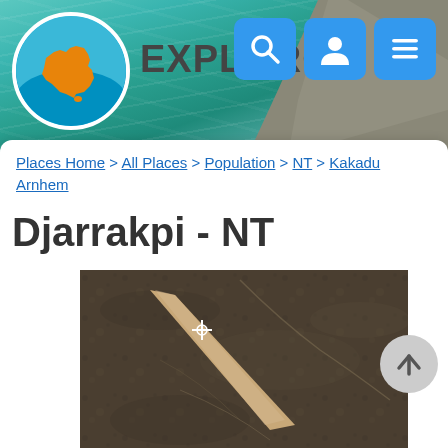[Figure (logo): Exploroz website header with logo circle showing Australia map shape in orange on blue background, EXPLOROZ text, and three navigation buttons (search, user, menu) in blue]
Places Home > All Places > Population > NT > Kakadu Arnhem
Djarrakpi - NT
[Figure (photo): Aerial satellite view of a dirt airstrip or road cutting diagonally through dark brown scrubby terrain, with a crosshair cursor symbol visible near the top-left of the strip]